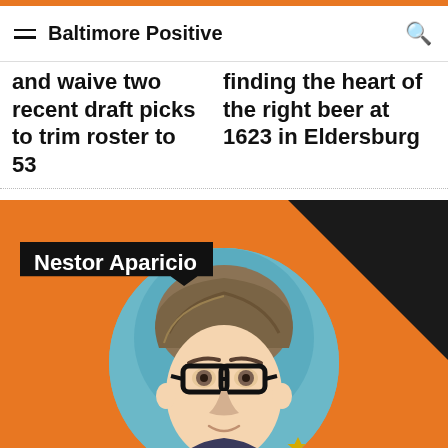Baltimore Positive
and waive two recent draft picks to trim roster to 53
finding the heart of the right beer at 1623 in Eldersburg
[Figure (illustration): Orange background section with a circular illustrated/stylized portrait of Nestor Aparicio wearing glasses, with a black name badge reading 'Nestor Aparicio' and a dark triangle shape in the upper right corner.]